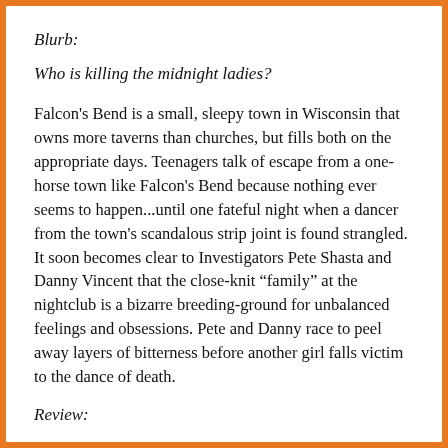Blurb:
Who is killing the midnight ladies?
Falcon's Bend is a small, sleepy town in Wisconsin that owns more taverns than churches, but fills both on the appropriate days. Teenagers talk of escape from a one-horse town like Falcon's Bend because nothing ever seems to happen...until one fateful night when a dancer from the town's scandalous strip joint is found strangled. It soon becomes clear to Investigators Pete Shasta and Danny Vincent that the close-knit “family” at the nightclub is a bizarre breeding-ground for unbalanced feelings and obsessions. Pete and Danny race to peel away layers of bitterness before another girl falls victim to the dance of death.
Review: